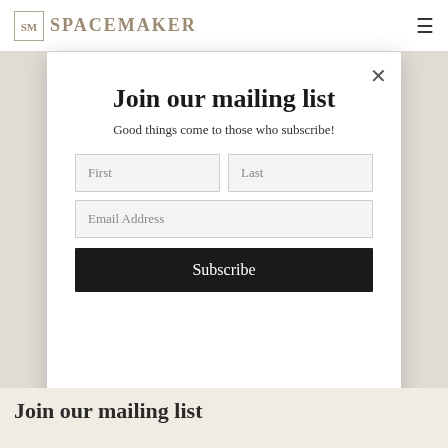SpaceMaker
Join our mailing list
Good things come to those who subscribe!
First | Last | Email Address | Subscribe